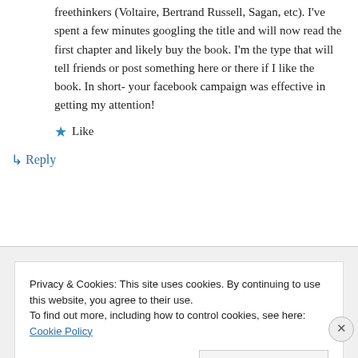freethinkers (Voltaire, Bertrand Russell, Sagan, etc). I've spent a few minutes googling the title and will now read the first chapter and likely buy the book. I'm the type that will tell friends or post something here or there if I like the book. In short- your facebook campaign was effective in getting my attention!
★ Like
↳ Reply
Privacy & Cookies: This site uses cookies. By continuing to use this website, you agree to their use.
To find out more, including how to control cookies, see here: Cookie Policy
Close and accept